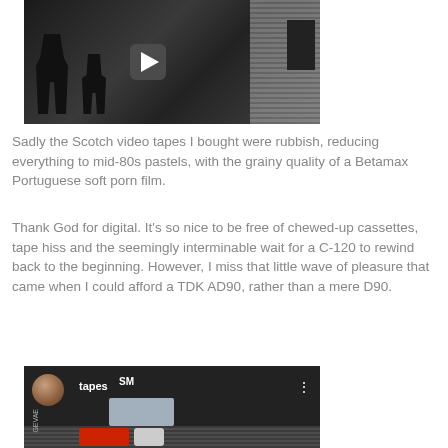[Figure (screenshot): Video thumbnail showing silhouette figures with blinds/stripes background and a play button overlay]
Sadly the Scotch video tapes I bought were rubbish, reducing everything to mid-80s pastels, with the grainy quality of a Betamax Portuguese soft porn film.
Thank God for digital. It's so nice to be free of chewed-up cassettes, tape hiss and the seemingly interminable wait for a C-120 to rewind back to the beginning. However, I miss that little wave of pleasure that came when I could afford a TDK AD90, rather than a mere D90.
[Figure (screenshot): Video thumbnail showing tapes with SM label, GEVAE branding, red and white buttons at bottom, avatar circle top left]